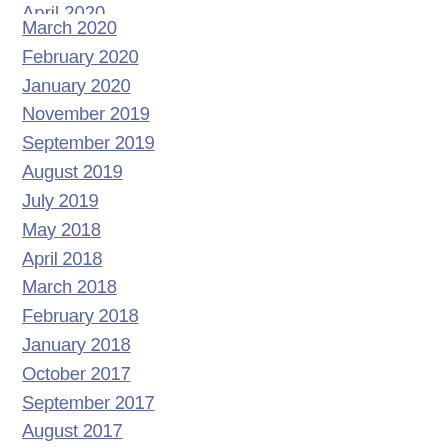April 2020
March 2020
February 2020
January 2020
November 2019
September 2019
August 2019
July 2019
May 2018
April 2018
March 2018
February 2018
January 2018
October 2017
September 2017
August 2017
July 2017
June 2017
May 2017
April 2017